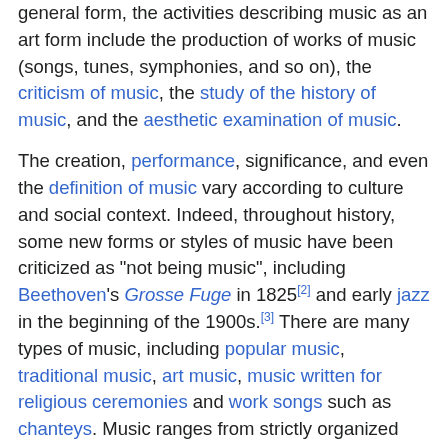general form, the activities describing music as an art form include the production of works of music (songs, tunes, symphonies, and so on), the criticism of music, the study of the history of music, and the aesthetic examination of music.
The creation, performance, significance, and even the definition of music vary according to culture and social context. Indeed, throughout history, some new forms or styles of music have been criticized as "not being music", including Beethoven's Grosse Fuge in 1825[2] and early jazz in the beginning of the 1900s.[3] There are many types of music, including popular music, traditional music, art music, music written for religious ceremonies and work songs such as chanteys. Music ranges from strictly organized compositions (and their recreation in performance), through improvisational music such as jazz and aleatoric (chance-based) 20th and 21st century forms